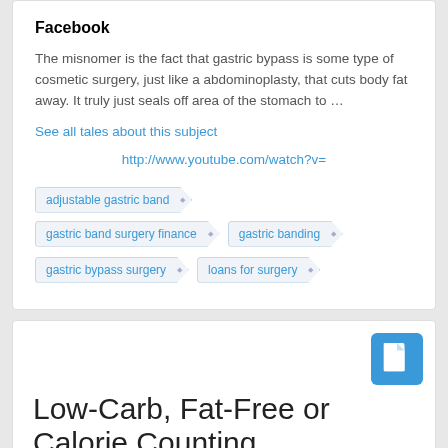Facebook
The misnomer is the fact that gastric bypass is some type of cosmetic surgery, just like a abdominoplasty, that cuts body fat away. It truly just seals off area of the stomach to …
See all tales about this subject
http://www.youtube.com/watch?v=
adjustable gastric band
gastric band surgery finance
gastric banding
gastric bypass surgery
loans for surgery
Low-Carb, Fat-Free or Calorie Counting